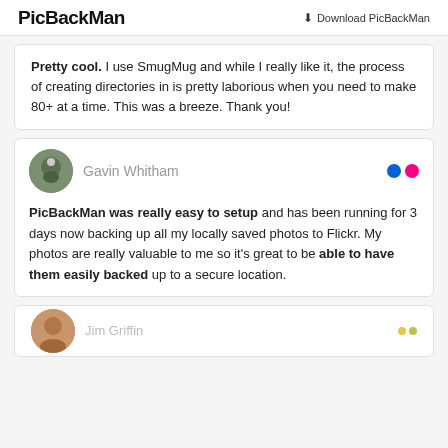PicBackMan | Download PicBackMan
Pretty cool. I use SmugMug and while I really like it, the process of creating directories in is pretty laborious when you need to make 80+ at a time. This was a breeze. Thank you!
Gavin Whitham
PicBackMan was really easy to setup and has been running for 3 days now backing up all my locally saved photos to Flickr. My photos are really valuable to me so it's great to be able to have them easily backed up to a secure location.
Jim Griffin